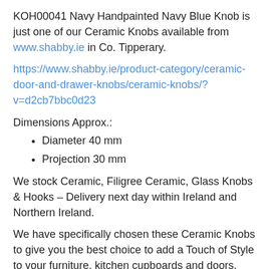KOH00041 Navy Handpainted Navy Blue Knob is just one of our Ceramic Knobs available from www.shabby.ie in Co. Tipperary.
https://www.shabby.ie/product-category/ceramic-door-and-drawer-knobs/ceramic-knobs/?v=d2cb7bbc0d23
Dimensions Approx.:
Diameter 40 mm
Projection 30 mm
We stock Ceramic, Filigree Ceramic, Glass Knobs & Hooks – Delivery next day within Ireland and Northern Ireland.
We have specifically chosen these Ceramic Knobs to give you the best choice to add a Touch of Style to your furniture, kitchen cupboards and doors.
If you are up-cycling or restyling your kitchen, ceramic knobs is a great way to give a professional finish.
Shabby.ie has established itself as one the leading